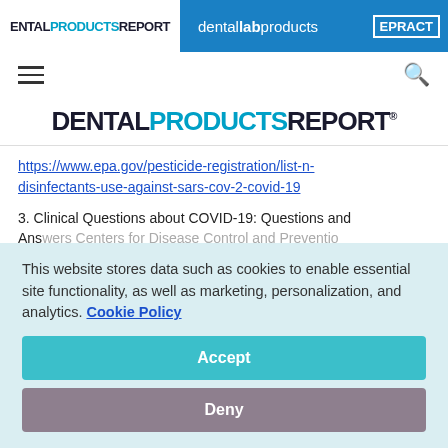DENTAL PRODUCTS REPORT | dental lab products | EPRACTICE
[Figure (logo): Dental Products Report logo and navigation bar with dental lab products and EPRACTICE branding]
https://www.epa.gov/pesticide-registration/list-n-disinfectants-use-against-sars-cov-2-covid-19
3. Clinical Questions about COVID-19: Questions and Answers Centers for Disease Control and Prevention
This website stores data such as cookies to enable essential site functionality, as well as marketing, personalization, and analytics. Cookie Policy
Accept
Deny